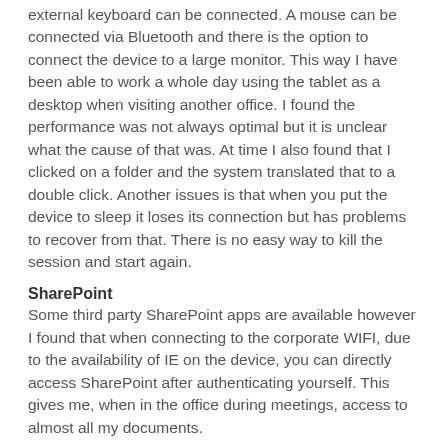external keyboard can be connected. A mouse can be connected via Bluetooth and there is the option to connect the device to a large monitor. This way I have been able to work a whole day using the tablet as a desktop when visiting another office. I found the performance was not always optimal but it is unclear what the cause of that was. At time I also found that I clicked on a folder and the system translated that to a double click. Another issues is that when you put the device to sleep it loses its connection but has problems to recover from that. There is no easy way to kill the session and start again.
SharePoint
Some third party SharePoint apps are available however I found that when connecting to the corporate WIFI, due to the availability of IE on the device, you can directly access SharePoint after authenticating yourself. This gives me, when in the office during meetings, access to almost all my documents.
Multiple accounts
The ability to create multiple accounts allows you to shield